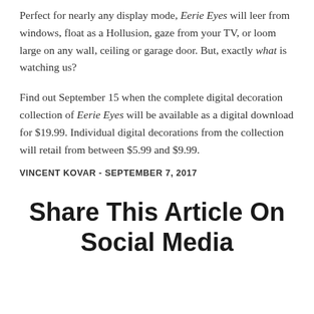Perfect for nearly any display mode, Eerie Eyes will leer from windows, float as a Hollusion, gaze from your TV, or loom large on any wall, ceiling or garage door. But, exactly what is watching us?
Find out September 15 when the complete digital decoration collection of Eerie Eyes will be available as a digital download for $19.99. Individual digital decorations from the collection will retail from between $5.99 and $9.99.
VINCENT KOVAR - SEPTEMBER 7, 2017
Share This Article On Social Media